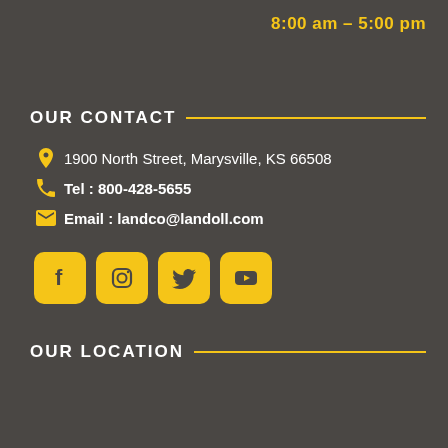8:00 am – 5:00 pm
OUR CONTACT
1900 North Street, Marysville, KS 66508
Tel : 800-428-5655
Email : landco@landoll.com
[Figure (infographic): Social media icons: Facebook, Instagram, Twitter, YouTube]
OUR LOCATION